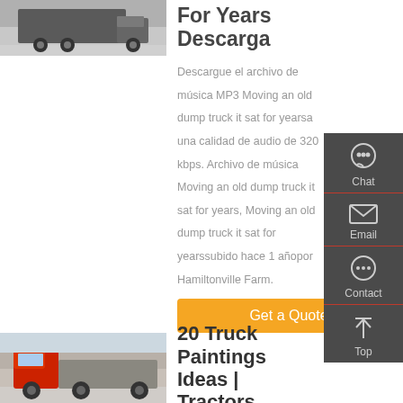[Figure (photo): Truck photo at top left]
For Years Descarga
Descargue el archivo de música MP3 Moving an old dump truck it sat for yearsa una calidad de audio de 320 kbps. Archivo de música Moving an old dump truck it sat for years, Moving an old dump truck it sat for yearssubido hace 1 añopor Hamiltonville Farm.
[Figure (screenshot): Sidebar with Chat, Email, Contact, Top buttons]
Get a Quote
[Figure (photo): Red truck photo at bottom left]
20 Truck Paintings Ideas | Tractors,